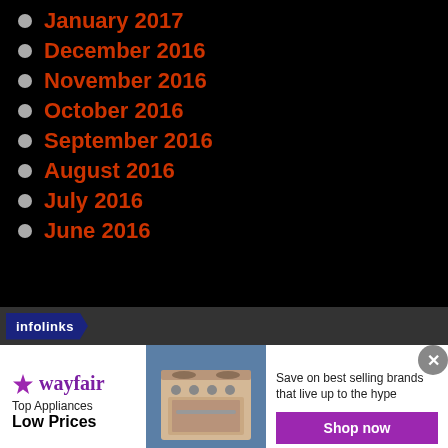January 2017
December 2016
November 2016
October 2016
September 2016
August 2016
July 2016
June 2016
[Figure (infographic): Wayfair advertisement banner: Top Appliances Low Prices, with stove image and Shop now button]
[Figure (logo): infolinks logo badge in dark bar]